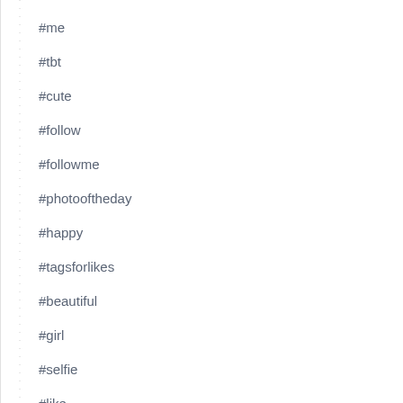#me
#tbt
#cute
#follow
#followme
#photooftheday
#happy
#tagsforlikes
#beautiful
#girl
#selfie
#like